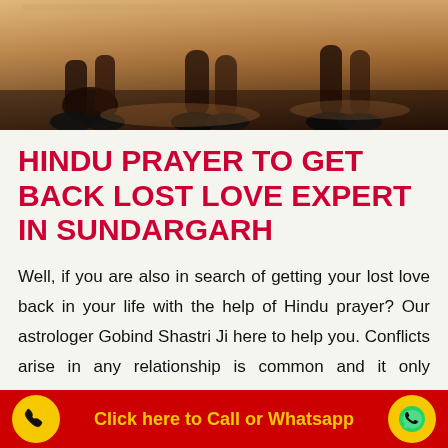[Figure (photo): Photo of people sitting on the ground, legs and feet visible from below, warm tones]
HINDU PRAYER TO GET BACK LOST LOVE EXPERT IN SUNDARGARH
Well, if you are also in search of getting your lost love back in your life with the help of Hindu prayer? Our astrologer Gobind Shastri Ji here to help you. Conflicts arise in any relationship is common and it only depends upon you how you can handle your relation. However, everyone wants to live in a happy relationship without
Click here to Call or Whatsapp